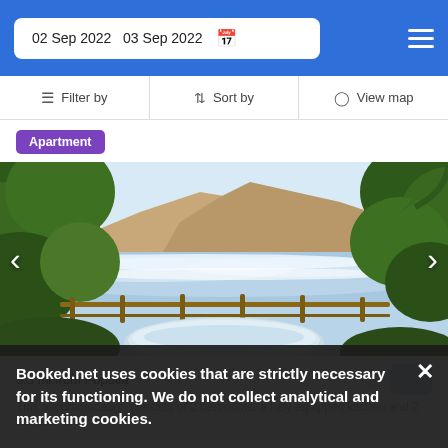02 Sep 2022  03 Sep 2022
Filter by  Sort by  View map
Apartment
[Figure (photo): Coastal view with ocean waves, cliffs, palm trees, and a hot tub/pool in the foreground, with a wooden railing fence]
3.3 mi from Popotla
Booked.net uses cookies that are strictly necessary for its functioning. We do not collect analytical and marketing cookies.
This accommodation consists of 2 bedrooms, a fully equipped kitchen and 2 bathrooms.